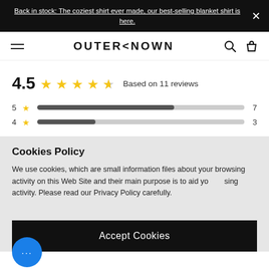Back in stock: The coziest shirt ever made, our best-selling blanket shirt is here.
[Figure (logo): OUTERKNOWN brand logo with hamburger menu, search, and cart icons]
4.5  Based on 11 reviews
5 ★  7
4 ★  3
Cookies Policy
We use cookies, which are small information files about your browsing activity on this Web Site and their main purpose is to aid yo... sing activity. Please read our Privacy Policy carefully.
Accept Cookies